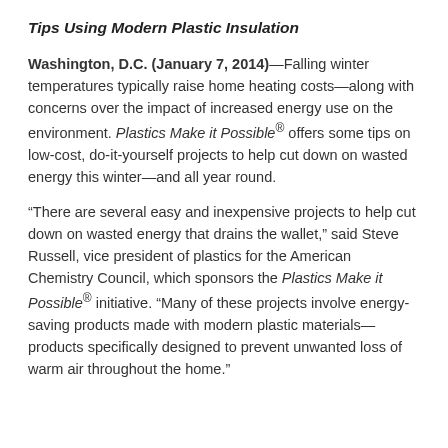Tips Using Modern Plastic Insulation
Washington, D.C. (January 7, 2014)—Falling winter temperatures typically raise home heating costs—along with concerns over the impact of increased energy use on the environment. Plastics Make it Possible® offers some tips on low-cost, do-it-yourself projects to help cut down on wasted energy this winter—and all year round.
“There are several easy and inexpensive projects to help cut down on wasted energy that drains the wallet,” said Steve Russell, vice president of plastics for the American Chemistry Council, which sponsors the Plastics Make it Possible® initiative. “Many of these projects involve energy-saving products made with modern plastic materials—products specifically designed to prevent unwanted loss of warm air throughout the home.”